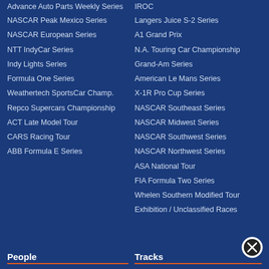Advance Auto Parts Weekly Series
IROC
NASCAR Peak Mexico Series
Langers Juice S-2 Series
NASCAR European Series
A1 Grand Prix
NTT IndyCar Series
N.A. Touring Car Championship
Indy Lights Series
Grand-Am Series
Formula One Series
American Le Mans Series
Weathertech SportsCar Champ.
X-1R Pro Cup Series
Repco Supercars Championship
NASCAR Southeast Series
ACT Late Model Tour
NASCAR Midwest Series
CARS Racing Tour
NASCAR Southwest Series
ABB Formula E Series
NASCAR Northwest Series
ASA National Tour
FIA Formula Two Series
Whelen Southern Modified Tour
Exhibition / Unclassified Races
People
Tracks